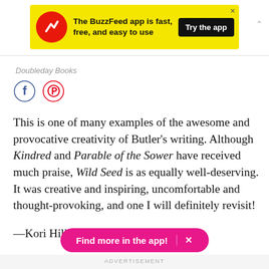[Figure (screenshot): BuzzFeed app advertisement banner: yellow background with red circular logo showing upward arrow, text 'The BuzzFeed app is fast, free, and easy to use', black 'Try the app' button, and close X button]
Doubleday Books
[Figure (infographic): Social media share icons: Facebook (blue circle with f logo) and Pinterest (red circle with P logo)]
This is one of many examples of the awesome and provocative creativity of Butler's writing. Although Kindred and Parable of the Sower have received much praise, Wild Seed is as equally well-deserving. It was creative and inspiring, uncomfortable and thought-provoking, and one I will definitely revisit!
—Kori Hill, Faceboook
[Figure (screenshot): Pink 'Find more in the app!' button with X close button]
ADVERTISEMENT